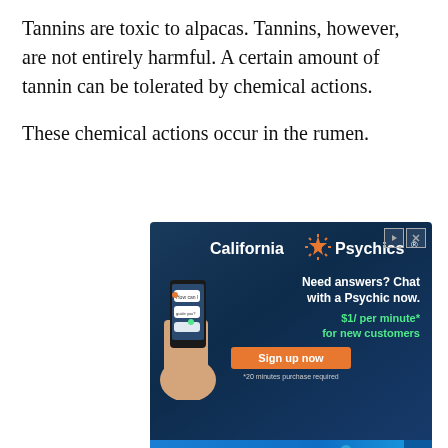Tannins are toxic to alpacas. Tannins, however, are not entirely harmful. A certain amount of tannin can be tolerated by chemical actions.
These chemical actions occur in the rumen.
[Figure (infographic): California Psychics advertisement: dark blue background with star logo, text 'Need answers? Chat with a Psychic now. $1/ per minute* for new customers', orange Sign up now button, phone graphic on left side]
[Figure (infographic): Nuun advertisement: blue background with 'No More Boring Water' text and product images on right]